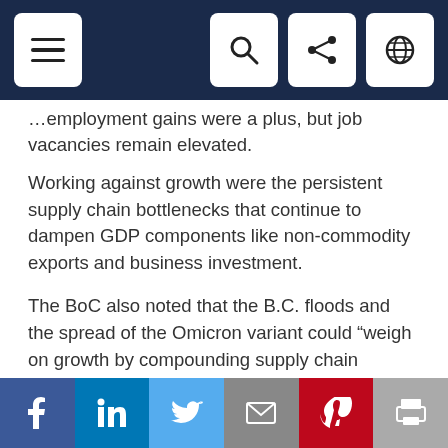Navigation bar with menu, search, share, and globe icons
...employment gains were a plus, but job vacancies remain elevated.
Working against growth were the persistent supply chain bottlenecks that continue to dampen GDP components like non-commodity exports and business investment.
The BoC also noted that the B.C. floods and the spread of the Omicron variant could “weigh on growth by compounding supply chain disruptions and reducing demand for some services.”
Inflation still being boosted by recovering
Share bar: Facebook, LinkedIn, Twitter, Email, Pinterest, Print